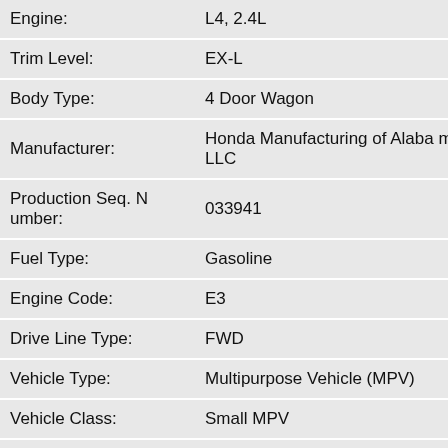| Field | Value |
| --- | --- |
| Engine: | L4, 2.4L |
| Trim Level: | EX-L |
| Body Type: | 4 Door Wagon |
| Manufacturer: | Honda Manufacturing of Alabama LLC |
| Production Seq. Number: | 033941 |
| Fuel Type: | Gasoline |
| Engine Code: | E3 |
| Drive Line Type: | FWD |
| Vehicle Type: | Multipurpose Vehicle (MPV) |
| Vehicle Class: | Small MPV |
| Brake System: | Hydraulic |
| Restraint System: | Dual Air Bag; Seat Belts |
| Country: | UNITED STATES |